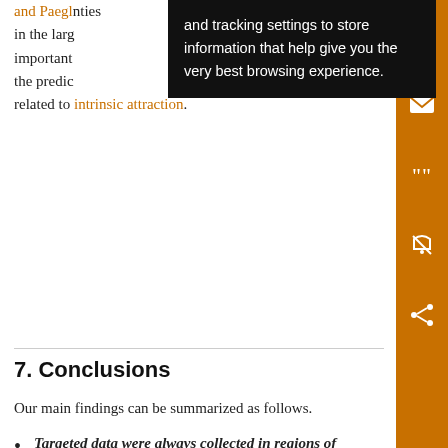and Paegl… …nties in the larg… important… with the predic… …nties related to intrinsic attraction.
and tracking settings to store information that help give you the very best browsing experience.
7. Conclusions
Our main findings can be summarized as follows.
Targeted data were always collected in regions of important synoptic features, such as upper-tropospheric waves and/or mature surface cyclones. In these targeted regions at least one of the eddy kinetic energy conversion processes had strong local maxima. These processes include the baroclinic energy conversion, the convergence of the ageostrophic geopotential fluxes, and the barotropic